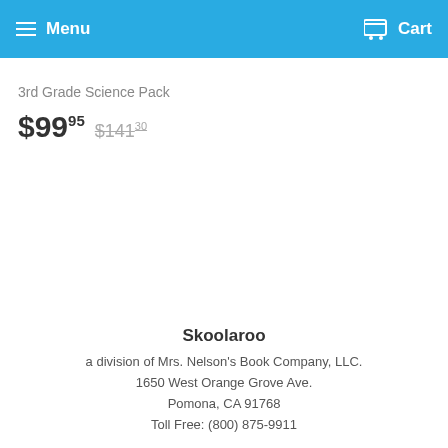Menu  Cart
3rd Grade Science Pack
$99.95  $141.30
Skoolaroo
a division of Mrs. Nelson's Book Company, LLC.
1650 West Orange Grove Ave.
Pomona, CA  91768
Toll Free: (800) 875-9911